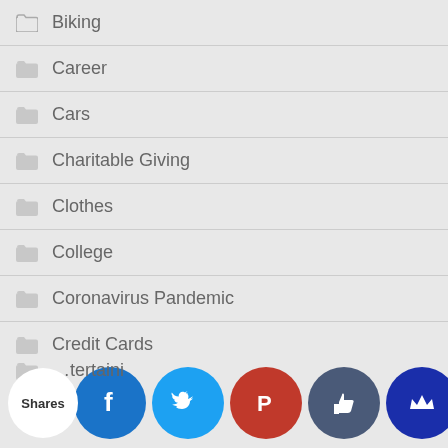Biking
Career
Cars
Charitable Giving
Clothes
College
Coronavirus Pandemic
Credit Cards
Demystifying Personal Finance Series
...tertaini